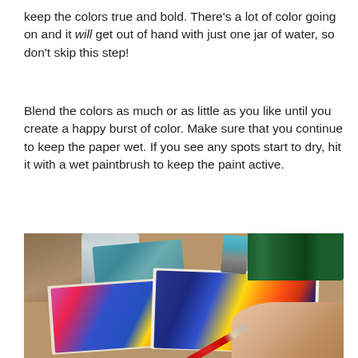keep the colors true and bold. There's a lot of color going on and it will get out of hand with just one jar of water, so don't skip this step!
Blend the colors as much or as little as you like until you create a happy burst of color. Make sure that you continue to keep the paper wet. If you see any spots start to dry, hit it with a wet paintbrush to keep the paint active.
[Figure (photo): Photo of a person painting watercolor artwork on paper. Shows colorful watercolor paintings in progress on a wooden table, with a water jar, paint bottles, and paintbrushes visible.]